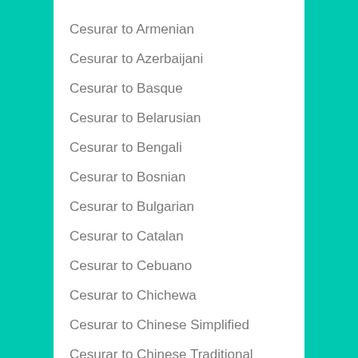Cesurar to Armenian
Cesurar to Azerbaijani
Cesurar to Basque
Cesurar to Belarusian
Cesurar to Bengali
Cesurar to Bosnian
Cesurar to Bulgarian
Cesurar to Catalan
Cesurar to Cebuano
Cesurar to Chichewa
Cesurar to Chinese Simplified
Cesurar to Chinese Traditional
Cesurar to Corsican
Cesurar to Croatian